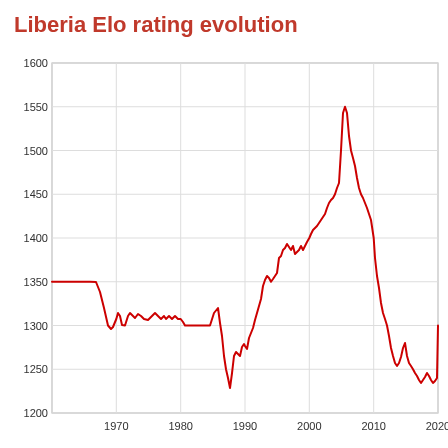Liberia Elo rating evolution
[Figure (continuous-plot): Line chart showing Liberia Elo rating evolution over time from approximately 1960 to 2020. The y-axis ranges from 1200 to 1600 with gridlines at 1250, 1300, 1350, 1400, 1450, 1500, 1550, 1600. The x-axis shows years: 1960, 1970, 1980, 1990, 2000, 2010, 2020. The red line starts around 1355 in 1960, dips to ~1295 around 1970, recovers to ~1350, drops again to ~1230 around 1985-1990, rises sharply to a peak of ~1540 around 2002, then drops sharply to ~1225 around 2012, before recovering to ~1360 by 2020.]